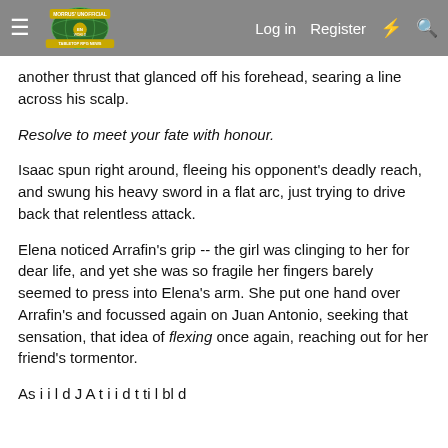Morrus' Unofficial Tabletop RPG News — Log in  Register
another thrust that glanced off his forehead, searing a line across his scalp.
Resolve to meet your fate with honour.
Isaac spun right around, fleeing his opponent's deadly reach, and swung his heavy sword in a flat arc, just trying to drive back that relentless attack.
Elena noticed Arrafin's grip -- the girl was clinging to her for dear life, and yet she was so fragile her fingers barely seemed to press into Elena's arm. She put one hand over Arrafin's and focussed again on Juan Antonio, seeking that sensation, that idea of flexing once again, reaching out for her friend's tormentor.
As i i l d J A t i i d t ti l bl d